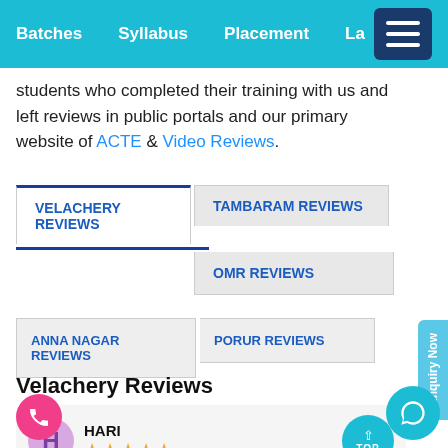Batches  Syllabus  Placement  La...
students who completed their training with us and left reviews in public portals and our primary website of ACTE & Video Reviews.
VELACHERY REVIEWS
TAMBARAM REVIEWS
OMR REVIEWS
ANNA NAGAR REVIEWS
PORUR REVIEWS
Velachery Reviews
HARI
★★★★★
ACTE institute in Velachery is one of the best